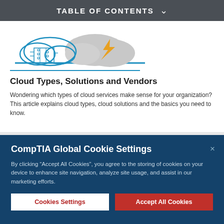TABLE OF CONTENTS
[Figure (illustration): Cloud computing illustration with circuit board and cloud icon with lightning bolt]
Cloud Types, Solutions and Vendors
Wondering which types of cloud services make sense for your organization? This article explains cloud types, cloud solutions and the basics you need to know.
CompTIA Global Cookie Settings
By clicking “Accept All Cookies”, you agree to the storing of cookies on your device to enhance site navigation, analyze site usage, and assist in our marketing efforts.
Cookies Settings | Accept All Cookies